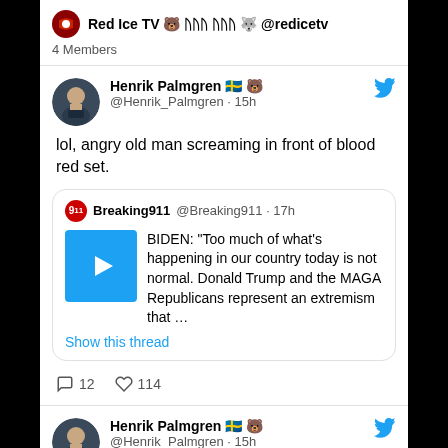Red Ice TV 🐻 𝓗𝓗𝓗 𝓗𝓗𝓗 🐺 @redicetv
4 Members
Henrik Palmgren 🇸🇪 🐻 @Henrik_Palmgren · 15h
lol, angry old man screaming in front of blood red set.
Breaking911 @Breaking911 · 17h
BIDEN: "Too much of what's happening in our country today is not normal. Donald Trump and the MAGA Republicans represent an extremism that ...
Show this thread
12  114
Henrik Palmgren 🇸🇪 🐻 @Henrik_Palmgren · 15h